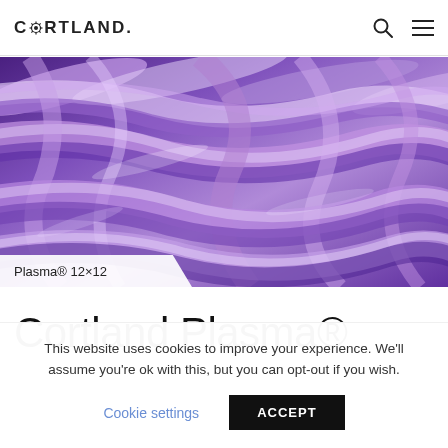CORTLAND
[Figure (photo): Close-up photograph of braided purple/violet rope strands (Plasma 12×12)]
Plasma® 12×12
Cortland Plasma®
This website uses cookies to improve your experience. We'll assume you're ok with this, but you can opt-out if you wish.
Cookie settings  ACCEPT